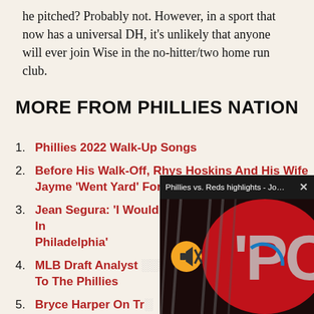he pitched? Probably not. However, in a sport that now has a universal DH, it's unlikely that anyone will ever join Wise in the no-hitter/two home run club.
MORE FROM PHILLIES NATION
Phillies 2022 Walk-Up Songs
Before His Walk-Off, Rhys Hoskins And His Wife Jayme 'Went Yard' For MDA
Jean Segura: 'I Would Love To Finish My Career In Philadelphia'
MLB Draft Analyst … To The Phillies
Bryce Harper On Tr… Where He Goes Ne…
Bake McBride, Ron… Phillies Wall Of Fa…
[Figure (screenshot): Popup video player showing 'Phillies vs. Reds highlights - Jose Barrer...' with a Phillies logo on a dark/red background and a mute button overlay]